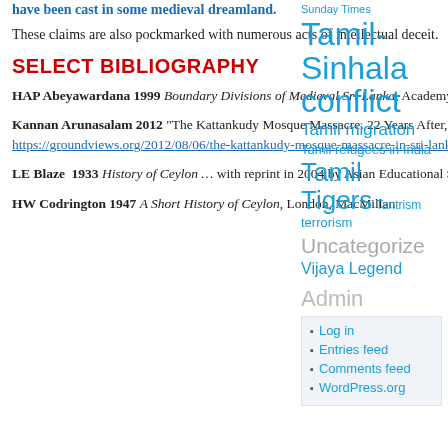have been cast in some medieval dreamland.
These claims are also pockmarked with numerous acts of intellectual deceit.
SELECT BIBLIOGRAPHY
HAP Abeyawardana 1999 Boundary Divisions of Medieval Sri Lanka, Academy of Sri Lankan Culture, Pulgasovita.
Kannan Arunasalam 2012 “The Kattankudy Mosque Massacre. 22 Years After,” 8 June 2012, https://groundviews.org/2012/08/06/the-kattankudy-mosque-massacre-in-sri-lanka-22-years-after/
LE Blaze 1933 History of Ceylon … with reprint in 2004 by Asian Educational Services.
HW Codrington 1947 A Short History of Ceylon, London, MacMillan
Sunday Times
Tamil-Sinhala conflict
Tamil migration
Tamil refugees in India
Tamil Tigers
Tantrism
terrorism
Uncategorized
Vijaya Legend
Admin
Log in
Entries feed
Comments feed
WordPress.org